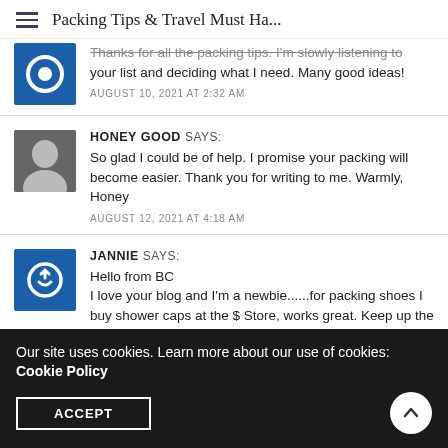Packing Tips & Travel Must Ha...
Thanks for all the packing tips. I'm slowly listening to your list and deciding what I need. Many good ideas!
AUGUST 10, 2021 AT 2:32 AM
HONEY GOOD SAYS:
So glad I could be of help. I promise your packing will become easier. Thank you for writing to me. Warmly, Honey
AUGUST 12, 2021 AT 4:18 AM
JANNIE SAYS:
Hello from BC
I love your blog and I'm a newbie......for packing shoes I buy shower caps at the $ Store, works great. Keep up the
Our site uses cookies. Learn more about our use of cookies: Cookie Policy